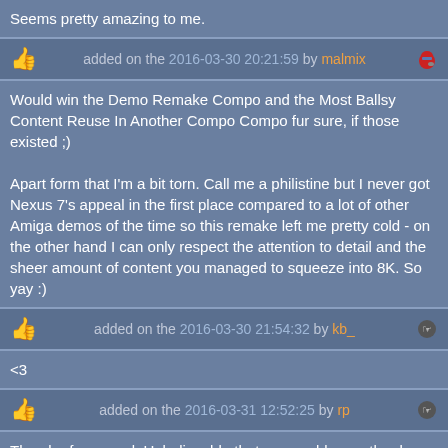Seems pretty amazing to me.
added on the 2016-03-30 20:21:59 by malmix
Would win the Demo Remake Compo and the Most Ballsy Content Reuse In Another Compo Compo fur sure, if those existed ;)

Apart form that I'm a bit torn. Call me a philistine but I never got Nexus 7's appeal in the first place compared to a lot of other Amiga demos of the time so this remake left me pretty cold - on the other hand I can only respect the attention to detail and the sheer amount of content you managed to squeeze into 8K. So yay :)
added on the 2016-03-30 21:54:32 by kb_
<3
added on the 2016-03-31 12:52:25 by rp
Thumb of approval. Unbelievable that you could cram the demo into 8k!
added on the 2016-03-31 14:38:09 by noname
How the hell did you do those two faces?